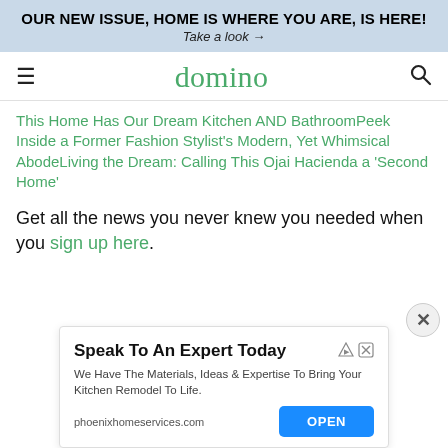OUR NEW ISSUE, HOME IS WHERE YOU ARE, IS HERE!
Take a look →
domino
This Home Has Our Dream Kitchen AND BathroomPeek Inside a Former Fashion Stylist's Modern, Yet Whimsical AbodeLiving the Dream: Calling This Ojai Hacienda a 'Second Home'
Get all the news you never knew you needed when you sign up here.
[Figure (screenshot): Advertisement for phoenixhomeservices.com: Speak To An Expert Today. We Have The Materials, Ideas & Expertise To Bring Your Kitchen Remodel To Life. OPEN button.]